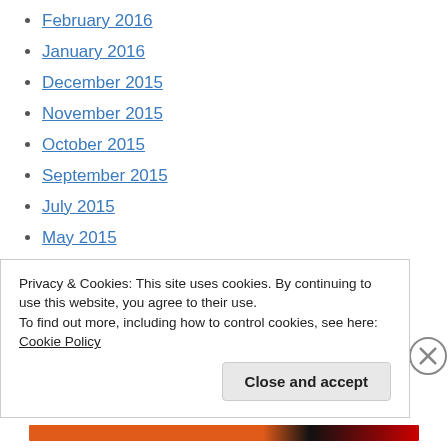February 2016
January 2016
December 2015
November 2015
October 2015
September 2015
July 2015
May 2015
April 2015
March 2015
February 2015
January 2015
Privacy & Cookies: This site uses cookies. By continuing to use this website, you agree to their use.
To find out more, including how to control cookies, see here: Cookie Policy
Close and accept